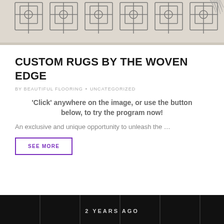[Figure (photo): Close-up photo of a grey and cream patterned woven rug with fringe, displayed from above]
CUSTOM RUGS BY THE WOVEN EDGE
BY BEAUTIFUL FLOORING • UNCATEGORIZED
'Click' anywhere on the image, or use the button below, to try the program now!
An exclusive and unique opportunity to unleash the …
SEE MORE
[Figure (photo): Partial photo of a room interior with dark walls/panels, with text '2 YEARS AGO' overlaid]